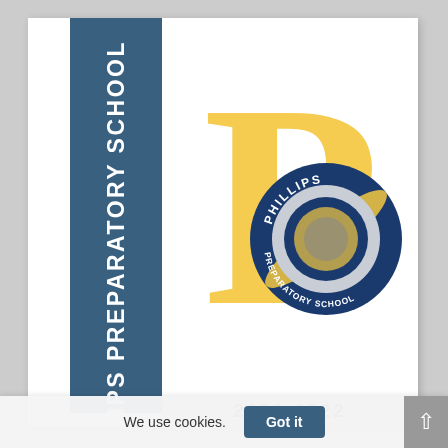[Figure (logo): Phillips Preparatory School cover page with teal/steel-blue sidebar bearing the school name vertically and tagline 'Excellence by Choice', plus a large golden letter P overlaid with the school's circular seal (blue and gold, reading PHILLIPS PREPARATORY SCHOOL), and a partially visible year '2021-2022' at the bottom.]
We use cookies.
Got it